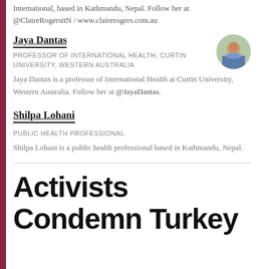International, based in Kathmandu, Nepal. Follow her at @ClaireRogersttN / www.clairerogers.com.au
Jaya Dantas
PROFESSOR OF INTERNATIONAL HEALTH, CURTIN UNIVERSITY, WESTERN AUSTRALIA
Jaya Dantas is a professor of International Health at Curtin University, Western Australia. Follow her at @JayaDantas.
[Figure (photo): Circular headshot photo of Jaya Dantas]
Shilpa Lohani
PUBLIC HEALTH PROFESSIONAL
Shilpa Lohani is a public health professional based in Kathmandu, Nepal.
Activists Condemn Turkey